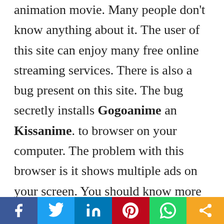animation movie. Many people don't know anything about it. The user of this site can enjoy many free online streaming services. There is also a bug present on this site. The bug secretly installs Gogoanime an Kissanime. to browser on your computer. The problem with this browser is it shows multiple ads on your screen. You should know more about its features. You will then understand its advantages and also its disadvantages. We will provide the information that is all you need to know about IsGogoanime An Kissanime is f
[Figure (infographic): Social sharing bar with buttons: Facebook (blue), Twitter (light blue), LinkedIn (dark blue), Pinterest (red), WhatsApp (green), Share (orange)]